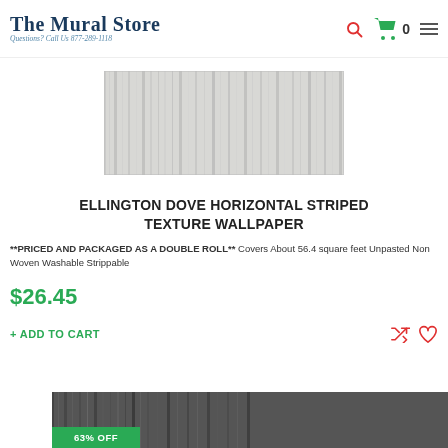The Mural Store — Questions? Call Us 877-289-1118
[Figure (photo): Light gray horizontal striped texture wallpaper sample image]
ELLINGTON DOVE HORIZONTAL STRIPED TEXTURE WALLPAPER
**PRICED AND PACKAGED AS A DOUBLE ROLL** Covers About 56.4 square feet Unpasted Non Woven Washable Strippable
$26.45
+ ADD TO CART
[Figure (photo): Dark gray/black horizontal striped texture wallpaper sample image with 63% OFF badge]